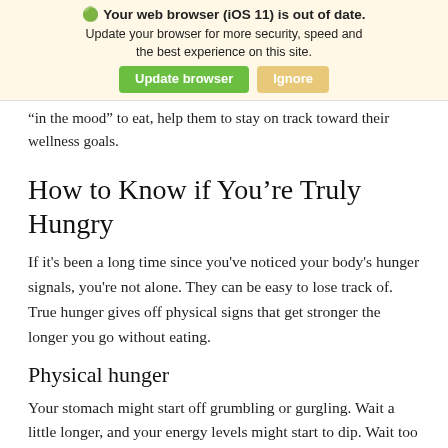Your web browser (iOS 11) is out of date. Update your browser for more security, speed and the best experience on this site. [Update browser] [Ignore]
“in the mood” to eat, help them to stay on track toward their wellness goals.
How to Know if You’re Truly Hungry
If it's been a long time since you've noticed your body's hunger signals, you're not alone. They can be easy to lose track of. True hunger gives off physical signs that get stronger the longer you go without eating.
Physical hunger
Your stomach might start off grumbling or gurgling. Wait a little longer, and your energy levels might start to dip. Wait too long, and feelings of crankiness, weakness or even lightheadedness start to move in.